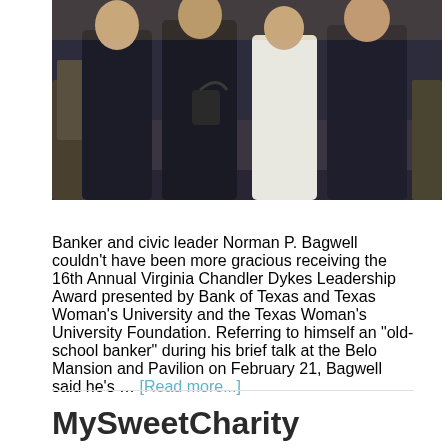[Figure (photo): Group photo of several people standing together at a formal event, dressed in dark suits and formal attire, taken at what appears to be a banquet hall.]
Banker and civic leader Norman P. Bagwell couldn't have been more gracious receiving the 16th Annual Virginia Chandler Dykes Leadership Award presented by Bank of Texas and Texas Woman's University and the Texas Woman's University Foundation. Referring to himself an "old-school banker" during his brief talk at the Belo Mansion and Pavilion on February 21, Bagwell said he's … [Read more...]
MySweetCharity